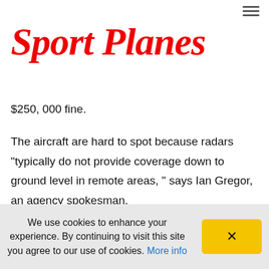≡
Sport Planes
$250, 000 fine.
The aircraft are hard to spot because radars "typically do not provide coverage down to ground level in remote areas, " says Ian Gregor, an agency spokesman.
For pilots of the aircraft, the goal is to remain elusive for as long as it takes to deliver the goods and return home,
We use cookies to enhance your experience. By continuing to visit this site you agree to our use of cookies. More info